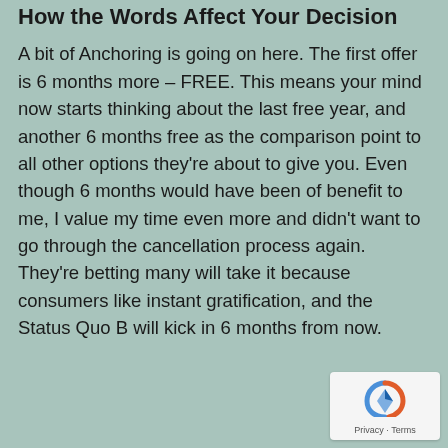How the Words Affect Your Decision
A bit of Anchoring is going on here. The first offer is 6 months more – FREE. This means your mind now starts thinking about the last free year, and another 6 months free as the comparison point to all other options they're about to give you. Even though 6 months would have been of benefit to me, I value my time even more and didn't want to go through the cancellation process again. They're betting many will take it because consumers like instant gratification, and the Status Quo B will kick in 6 months from now.
[Figure (other): reCAPTCHA badge with Privacy - Terms text]